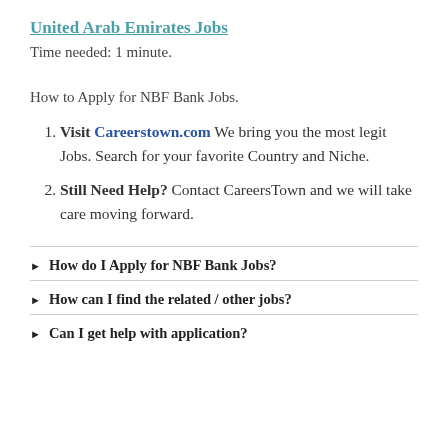United Arab Emirates Jobs
Time needed: 1 minute.
How to Apply for NBF Bank Jobs.
Visit Careerstown.com We bring you the most legit Jobs. Search for your favorite Country and Niche.
Still Need Help? Contact CareersTown and we will take care moving forward.
How do I Apply for NBF Bank Jobs?
How can I find the related / other jobs?
Can I get help with application?